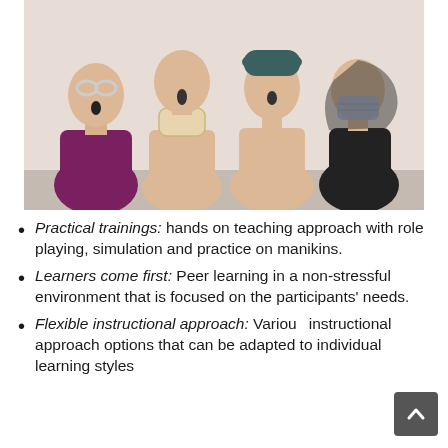[Figure (photo): Four CPR/first-aid training manikins leaning against a wall. From left: one wearing a purple jacket with goggles on its face, one with a beige neck brace, one with a dark teal hat, and one wearing a blue surgical mask and black hoodie.]
Practical trainings: hands on teaching approach with role playing, simulation and practice on manikins.
Learners come first: Peer learning in a non-stressful environment that is focused on the participants' needs.
Flexible instructional approach: Various instructional approach options that can be adapted to individual learning styles